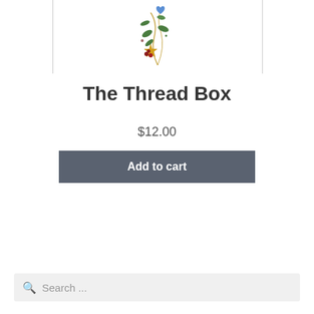[Figure (illustration): Decorative illustration of a Christmas/holiday ornament vine with star, heart, and berries on a white background with grey border lines on left and right.]
The Thread Box
$12.00
Add to cart
Search ...